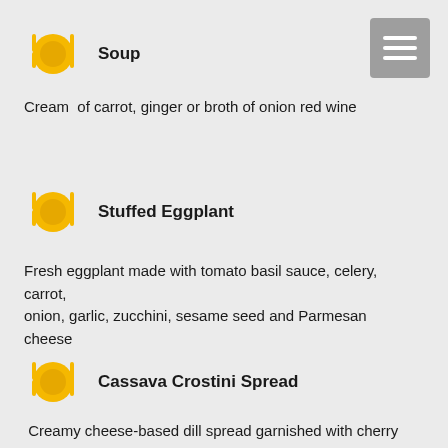Soup
Cream  of carrot, ginger or broth of onion red wine
Stuffed Eggplant
Fresh eggplant made with tomato basil sauce, celery, carrot, onion, garlic, zucchini, sesame seed and Parmesan cheese
Cassava Crostini Spread
Creamy cheese-based dill spread garnished with cherry tomato and asparagus on baked Cassava Crostini